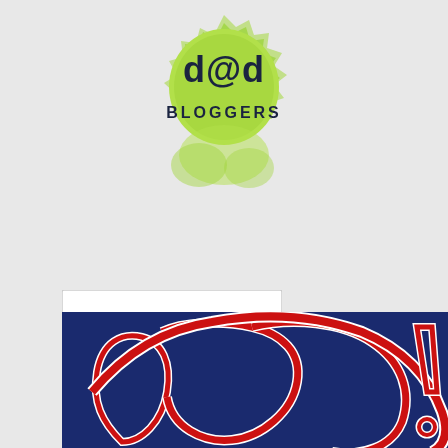[Figure (logo): d@d Bloggers logo — green spiky circle badge with 'd@d' text and 'BLOGGERS' below in dark navy, on light gray background]
[Figure (logo): ACTIVATE BY BLOGLOVIN' logo — white rectangle with border, 'ACTIVATE' in large dark sans-serif and 'BY BLOGLOVIN'' in smaller gray text below]
[Figure (other): Small broken/loading image icon placeholder]
[Figure (photo): Dark navy background with large red graffiti-style cursive text outlined in white, partially visible — appears to be a logo or banner image cropped at bottom]